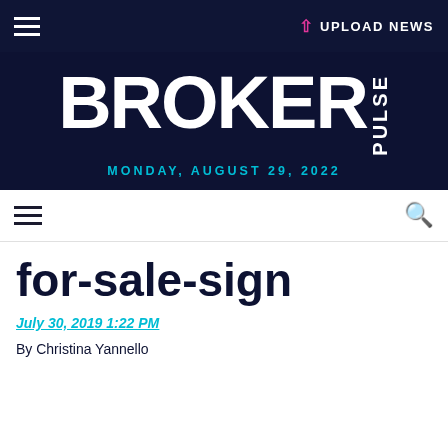☰   ↑ UPLOAD NEWS
[Figure (logo): BrokerPulse logo with BROKER in large white bold text and PULSE vertically on the right, on dark navy background]
MONDAY, AUGUST 29, 2022
☰  🔍
for-sale-sign
July 30, 2019 1:22 PM
By Christina Yannello